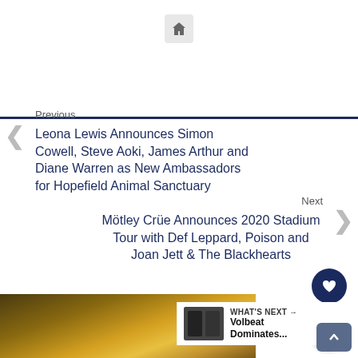[Figure (other): Home icon button in a light gray rounded square]
Previous
Leona Lewis Announces Simon Cowell, Steve Aoki, James Arthur and Diane Warren as New Ambassadors for Hopefield Animal Sanctuary
Next
Mötley Crüe Announces 2020 Stadium Tour with Def Leppard, Poison and Joan Jett & The Blackhearts
Related Articles
WHAT'S NEXT → Volbeat Dominates...